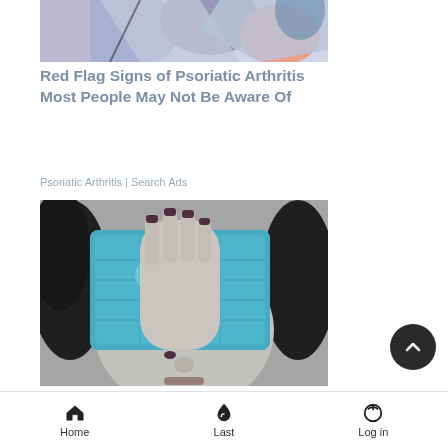[Figure (illustration): Partial view of a colorful abstract illustration showing figures with blue, purple, pink tones - top portion of an article image]
Red Flag Signs of Psoriatic Arthritis Most People May Not Be Aware Of
Psoriatic Arthritis | Search Ads
[Figure (photo): Black and white photo of a woman holding a blue ice/gel pack over her eyes, with her hand showing dark nail polish]
How To Get A Migraine To Go...
Home  Last  Log in